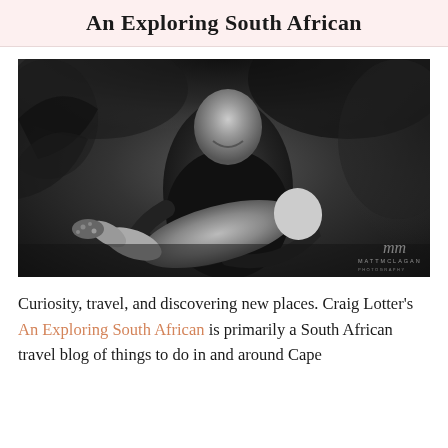An Exploring South African
[Figure (photo): Black and white photograph of a smiling man holding a laughing young child horizontally in his arms, with foliage in the background. Watermark reads 'mm MATTMCLAGAN' in the bottom right corner.]
Curiosity, travel, and discovering new places. Craig Lotter's An Exploring South African is primarily a South African travel blog of things to do in and around Cape